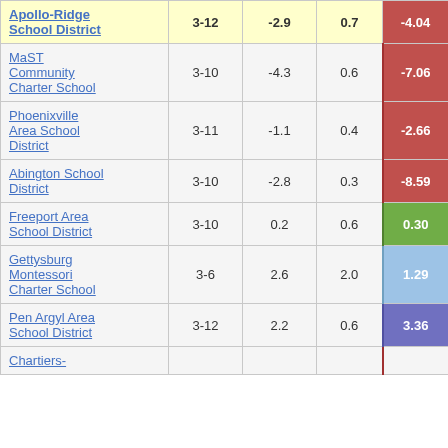|  | Grades | Col3 | Col4 | Score |
| --- | --- | --- | --- | --- |
| Apollo-Ridge School District | 3-12 | -2.9 | 0.7 | -4.04 |
| MaST Community Charter School | 3-10 | -4.3 | 0.6 | -7.06 |
| Phoenixville Area School District | 3-11 | -1.1 | 0.4 | -2.66 |
| Abington School District | 3-10 | -2.8 | 0.3 | -8.59 |
| Freeport Area School District | 3-10 | 0.2 | 0.6 | 0.30 |
| Gettysburg Montessori Charter School | 3-6 | 2.6 | 2.0 | 1.29 |
| Pen Argyl Area School District | 3-12 | 2.2 | 0.6 | 3.36 |
| Chartiers-... |  |  |  |  |